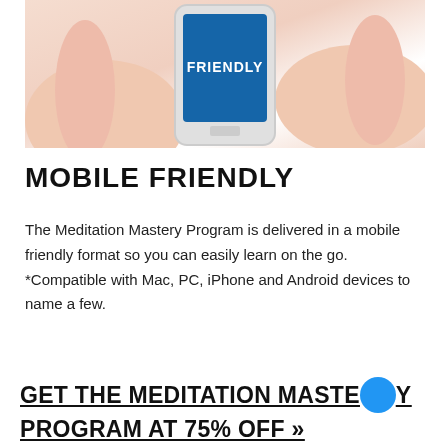[Figure (photo): Hands holding a smartphone with 'FRIENDLY' displayed on a blue screen]
MOBILE FRIENDLY
The Meditation Mastery Program is delivered in a mobile friendly format so you can easily learn on the go. *Compatible with Mac, PC, iPhone and Android devices to name a few.
GET THE MEDITATION MASTERY PROGRAM AT 75% OFF »